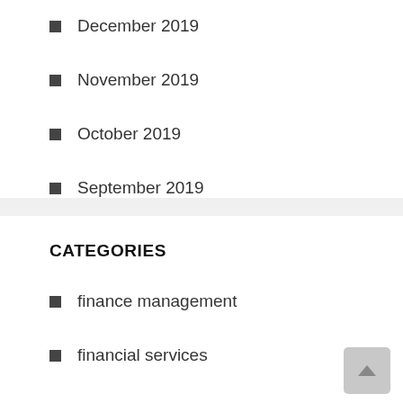December 2019
November 2019
October 2019
September 2019
CATEGORIES
finance management
financial services
money